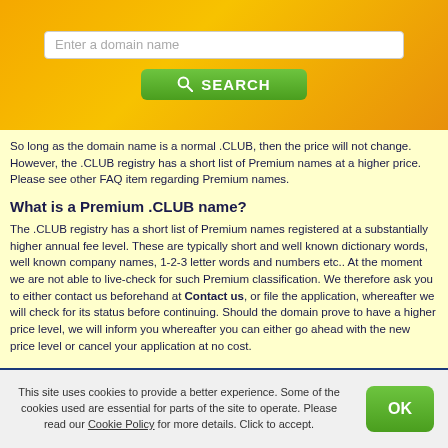[Figure (screenshot): Search banner with orange/yellow gradient background, a white text input field reading 'Enter a domain name', and a green SEARCH button with magnifying glass icon]
So long as the domain name is a normal .CLUB, then the price will not change. However, the .CLUB registry has a short list of Premium names at a higher price. Please see other FAQ item regarding Premium names.
What is a Premium .CLUB name?
The .CLUB registry has a short list of Premium names registered at a substantially higher annual fee level. These are typically short and well known dictionary words, well known company names, 1-2-3 letter words and numbers etc.. At the moment we are not able to live-check for such Premium classification. We therefore ask you to either contact us beforehand at Contact us, or file the application, whereafter we will check for its status before continuing. Should the domain prove to have a higher price level, we will inform you whereafter you can either go ahead with the new price level or cancel your application at no cost.
This site uses cookies to provide a better experience. Some of the cookies used are essential for parts of the site to operate. Please read our Cookie Policy for more details. Click to accept.